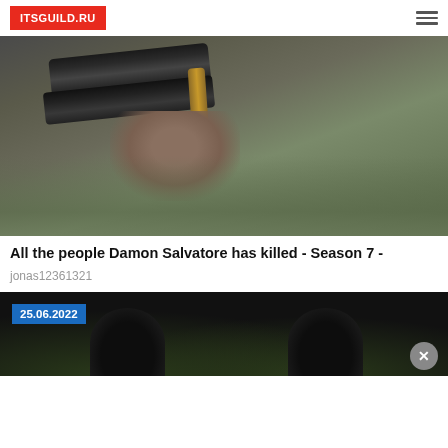ITSGUILD.RU
[Figure (photo): Close-up of a person holding a shotgun with a shell visible, outdoors in a forested area]
All the people Damon Salvatore has killed - Season 7 -
jonas12361321
[Figure (photo): Dark image showing two silhouetted figures with a date badge reading 25.06.2022 and a close button]
[Figure (photo): Partially visible image at the bottom of the page]